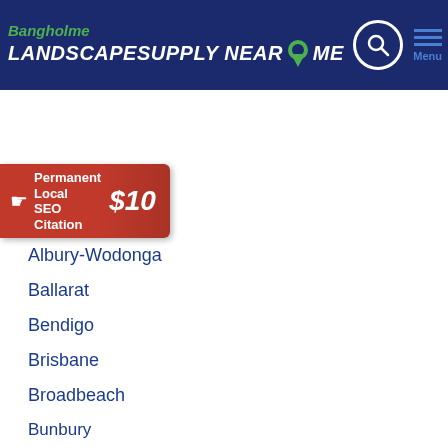[Figure (logo): Bangholme LandscapeSupply Near Me website header with logo, search icon, and menu icon on dark blue background]
[Figure (infographic): Red banner advertisement: Permanent Local SEO Citation $10]
ocations
Adelaide
Albury-Wodonga
Ballarat
Bendigo
Brisbane
Broadbeach
Bunbury
Bundaberg
Cairns
Canberra
Central Coast
Coffs Harbour